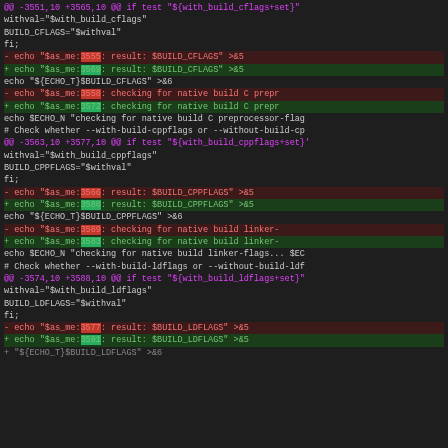diff hunk showing changes to configure script line numbers
withval="$with_build_cflags"
    BUILD_CFLAGS="$withval"
  fi;
- echo "$as_me:3555: result: $BUILD_CFLAGS" >&5
+ echo "$as_me:3569: result: $BUILD_CFLAGS" >&5
 echo "${ECHO_T}$BUILD_CFLAGS" >&6

- echo "$as_me:3558: checking for native build C prepr
+ echo "$as_me:3572: checking for native build C prepr
 echo $ECHO_N "checking for native build C preprocessor-flag

 # Check whether --with-build-cppflags or --without-build-cp
@@ -3563,10 +3577,10 @@ if test "${with_build_cppflags+set}'
    withval="$with_build_cppflags"
    BUILD_CPPFLAGS="$withval"
  fi;
- echo "$as_me:3566: result: $BUILD_CPPFLAGS" >&5
+ echo "$as_me:3580: result: $BUILD_CPPFLAGS" >&5
 echo "${ECHO_T}$BUILD_CPPFLAGS" >&6

- echo "$as_me:3569: checking for native build linker-
+ echo "$as_me:3583: checking for native build linker-
 echo $ECHO_N "checking for native build linker-flags... $EC

 # Check whether --with-build-ldflags or --without-build-ldf
@@ -3574,10 +3588,10 @@ if test "${with_build_ldflags+set}"
    withval="$with_build_ldflags"
    BUILD_LDFLAGS="$withval"
  fi;
- echo "$as_me:3577: result: $BUILD_LDFLAGS" >&5
+ echo "$as_me:3591: result: $BUILD_LDFLAGS" >&5